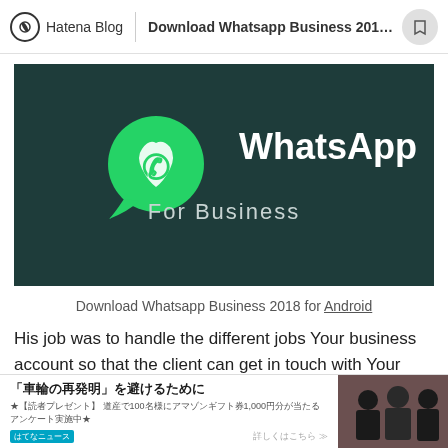Hatena Blog | Download Whatsapp Business 201...
[Figure (screenshot): WhatsApp For Business logo on dark teal background]
Download Whatsapp Business 2018 for Android
His job was to handle the different jobs Your business account so that the client can get in touch with Your
[Figure (infographic): Advertisement bar: 「車輪の再発明」を避けるために with Japanese text and photo of people]